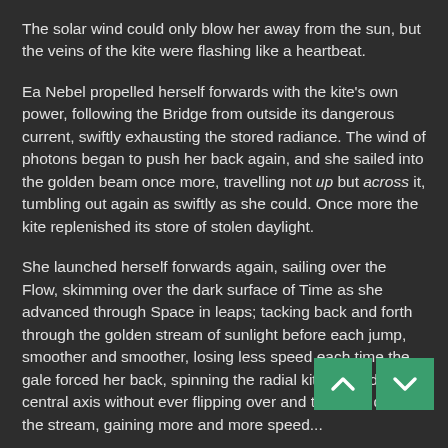The solar wind could only blow her away from the sun, but the veins of the kite were flashing like a heartbeat.
Ea Nebel propelled herself forwards with the kite's own power, following the Bridge from outside its dangerous current, swiftly exhausting the stored radiance. The wind of photons began to push her back again, and she sailed into the golden beam once more, travelling not up but across it, tumbling out again as swiftly as she could. Once more the kite replenished its store of stolen daylight.
She launched herself forwards again, sailing over the Flow, skimming over the dark surface of Time as she advanced through Space in leaps; tacking back and forth through the golden stream of sunlight before each jump, smoother and smoother, losing less speed each time the gale forced her back, spinning the radial kite around its central axis without ever flipping over and tumbling down the stream, gaining more and more speed...
And then she was just flying, the splayed-fern tentacles swept